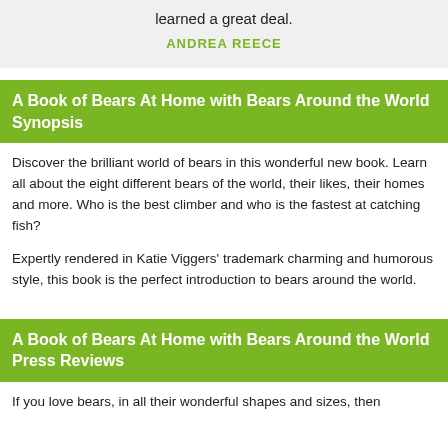learned a great deal.
ANDREA REECE
A Book of Bears At Home with Bears Around the World Synopsis
Discover the brilliant world of bears in this wonderful new book. Learn all about the eight different bears of the world, their likes, their homes and more. Who is the best climber and who is the fastest at catching fish?
Expertly rendered in Katie Viggers' trademark charming and humorous style, this book is the perfect introduction to bears around the world.
A Book of Bears At Home with Bears Around the World Press Reviews
If you love bears, in all their wonderful shapes and sizes, then